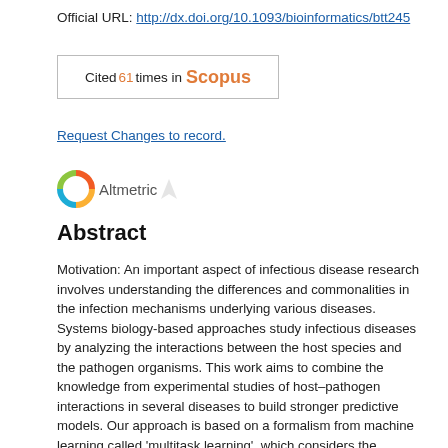Official URL: http://dx.doi.org/10.1093/bioinformatics/btt245
[Figure (other): Scopus citation badge: Cited 61 times in Scopus]
Request Changes to record.
[Figure (logo): Altmetric badge logo]
Abstract
Motivation: An important aspect of infectious disease research involves understanding the differences and commonalities in the infection mechanisms underlying various diseases. Systems biology-based approaches study infectious diseases by analyzing the interactions between the host species and the pathogen organisms. This work aims to combine the knowledge from experimental studies of host–pathogen interactions in several diseases to build stronger predictive models. Our approach is based on a formalism from machine learning called 'multitask learning', which considers the problem of building models across tasks that are related to each other. A 'task' in our scenario is the set of host–pathogen protein interactions involved in one disease. To integrate interactions from several tasks (i.e. diseases), our method exploits the similarity in the infection process across the diseases. In particular, we use the biological hypothesis that similar pathogens target the same critical biological processes in the